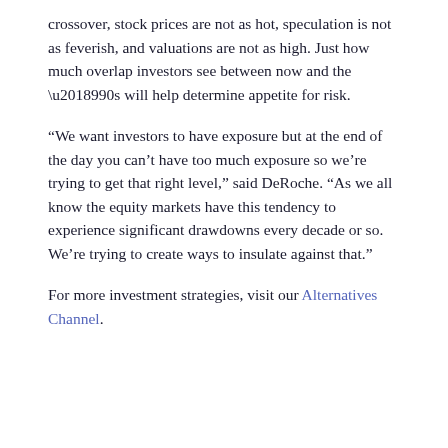crossover, stock prices are not as hot, speculation is not as feverish, and valuations are not as high. Just how much overlap investors see between now and the ’90s will help determine appetite for risk.
“We want investors to have exposure but at the end of the day you can’t have too much exposure so we’re trying to get that right level,” said DeRoche. “As we all know the equity markets have this tendency to experience significant drawdowns every decade or so. We’re trying to create ways to insulate against that.”
For more investment strategies, visit our Alternatives Channel.